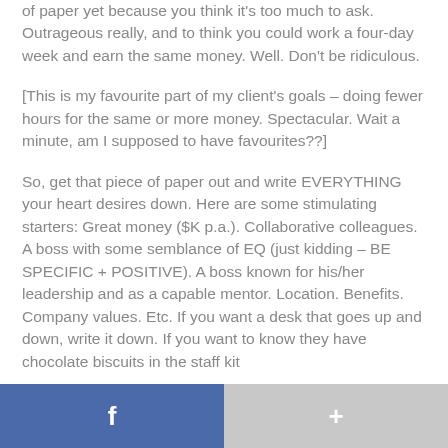of paper yet because you think it's too much to ask. Outrageous really, and to think you could work a four-day week and earn the same money. Well. Don't be ridiculous.
[This is my favourite part of my client's goals – doing fewer hours for the same or more money. Spectacular. Wait a minute, am I supposed to have favourites??]
So, get that piece of paper out and write EVERYTHING your heart desires down. Here are some stimulating starters: Great money ($K p.a.). Collaborative colleagues. A boss with some semblance of EQ (just kidding – BE SPECIFIC + POSITIVE). A boss known for his/her leadership and as a capable mentor. Location. Benefits. Company values. Etc. If you want a desk that goes up and down, write it down. If you want to know they have chocolate biscuits in the staff kitchen, you'd better have it available, write that down. If
f +